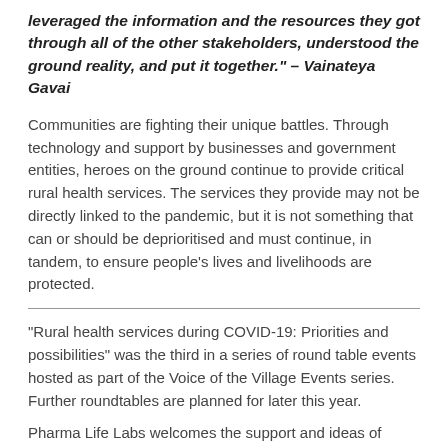leveraged the information and the resources they got through all of the other stakeholders, understood the ground reality, and put it together." – Vainateya Gavai
Communities are fighting their unique battles. Through technology and support by businesses and government entities, heroes on the ground continue to provide critical rural health services. The services they provide may not be directly linked to the pandemic, but it is not something that can or should be deprioritised and must continue, in tandem, to ensure people's lives and livelihoods are protected.
"Rural health services during COVID-19: Priorities and possibilities" was the third in a series of round table events hosted as part of the Voice of the Village Events series. Further roundtables are planned for later this year.
Pharma Life Labs welcomes the support and ideas of individuals